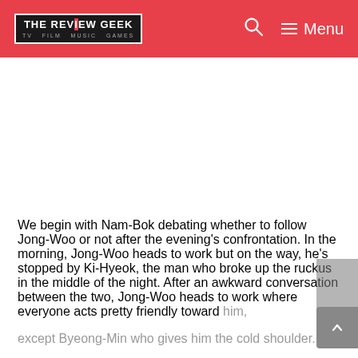THE REVIEW GEEK — TV FILM MUSIC GAMES — Menu
[Figure (other): Advertisement / blank white space placeholder]
We begin with Nam-Bok debating whether to follow Jong-Woo or not after the evening's confrontation. In the morning, Jong-Woo heads to work but on the way, he's stopped by Ki-Hyeok, the man who broke up the ruckus in the middle of the night. After an awkward conversation between the two, Jong-Woo heads to work where everyone acts pretty friendly toward him, except Byeong-Min who gives him the cold shoulder.